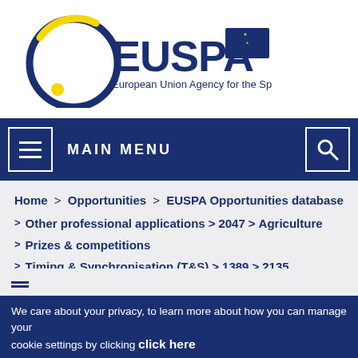[Figure (logo): EUSPA logo — European Union Agency for the Space Programme — with a circular orbit graphic in blue and yellow, bold EUSPA text, and the EU flag emblem]
MAIN MENU
Home > Opportunities > EUSPA Opportunities database > Other professional applications > 2047 > Agriculture > Prizes & competitions > Timing & Synchronisation (T&S) > 1389 > 2135
We care about your privacy, to learn more about how you can manage your cookie settings by clicking click here